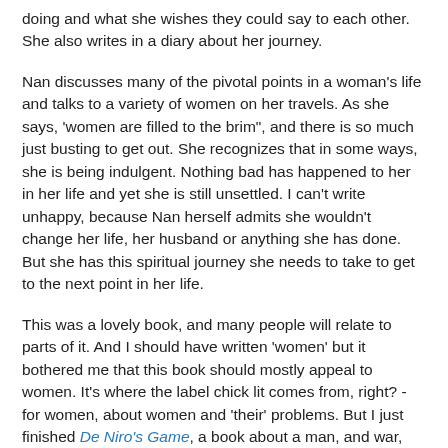doing and what she wishes they could say to each other. She also writes in a diary about her journey.
Nan discusses many of the pivotal points in a woman's life and talks to a variety of women on her travels. As she says, 'women are filled to the brim", and there is so much just busting to get out. She recognizes that in some ways, she is being indulgent. Nothing bad has happened to her in her life and yet she is still unsettled. I can't write unhappy, because Nan herself admits she wouldn't change her life, her husband or anything she has done. But she has this spiritual journey she needs to take to get to the next point in her life.
This was a lovely book, and many people will relate to parts of it. And I should have written 'women' but it bothered me that this book should mostly appeal to women. It's where the label chick lit comes from, right? - for women, about women and 'their' problems. But I just finished De Niro's Game, a book about a man, and war, that was a prize winner (IMPAC Dublin 2008) and suggested as a book that had a meaning for everyone. Why is a book about men and their journey and experience a book for everyone to read, while an equally